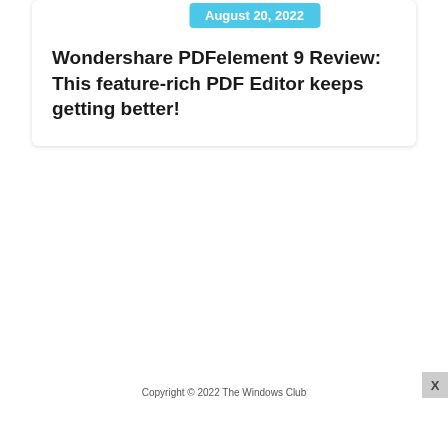August 20, 2022
Wondershare PDFelement 9 Review: This feature-rich PDF Editor keeps getting better!
Copyright © 2022 The Windows Club